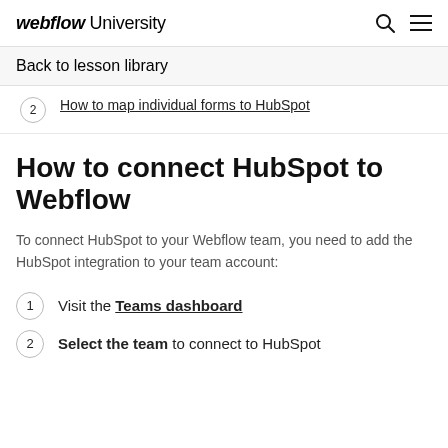webflow University
Back to lesson library
2   How to map individual forms to HubSpot
How to connect HubSpot to Webflow
To connect HubSpot to your Webflow team, you need to add the HubSpot integration to your team account:
1   Visit the Teams dashboard
2   Select the team to connect to HubSpot